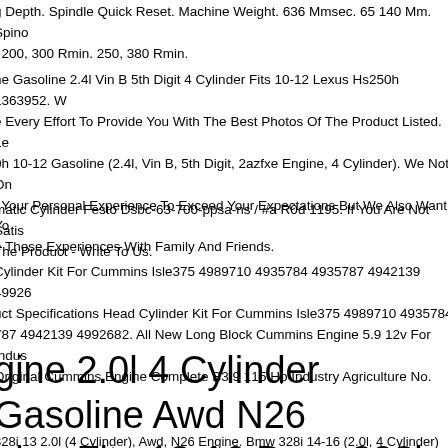g Depth. Spindle Quick Reset. Machine Weight. 636 Mmsec. 65 140 Mm. Spino
. 200, 300 Rmin. 250, 380 Rmin.
ne Gasoline 2.4l Vin B 5th Digit 4 Cylinder Fits 10-12 Lexus Hs250h 1363952. W
e Every Effort To Provide You With The Best Photos Of The Product Listed. Le
0h 10-12 Gasoline (2.4l, Vin B, 5th Digit, 2azfxe Engine, 4 Cylinder). We Not On
. Your Personal Experience To Exceed Your Expectations But We Also Want Yo
e Those Experiences With Family And Friends.
matic Cylinder Festo Dsbc-63-700-ppsa-ns / #a R0d 1195. If You Are Not Satis
The Product - Write To Us.
Cylinder Kit For Cummins Isle375 4989710 4935784 4935787 4942139 4992 6
uct Specifications Head Cylinder Kit For Cummins Isle375 4989710 4935784
787 4942139 4992682. All New Long Block Cummins Engine 5.9 12v For Indus
Original Cummins Engine Complete B3.9 115 Hp Industry Agriculture No.
gine 2.0l 4 Cylinder Gasoline Awd N26
gine Fits 13-16 Bmw 328i 506440
328i 13 2.0l (4 Cylinder), Awd, N26 Engine. Bmw 328i 14-16 (2.0l, 4 Cylinder)